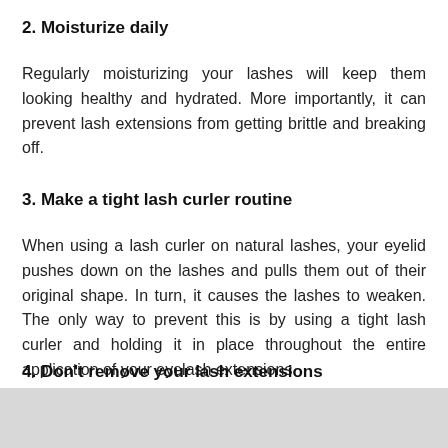2. Moisturize daily
Regularly moisturizing your lashes will keep them looking healthy and hydrated. More importantly, it can prevent lash extensions from getting brittle and breaking off.
3. Make a tight lash curler routine
When using a lash curler on natural lashes, your eyelid pushes down on the lashes and pulls them out of their original shape. In turn, it causes the lashes to weaken. The only way to prevent this is by using a tight lash curler and holding it in place throughout the entire application of your eyelash extensions.
4. Don’t remove your lash extensions